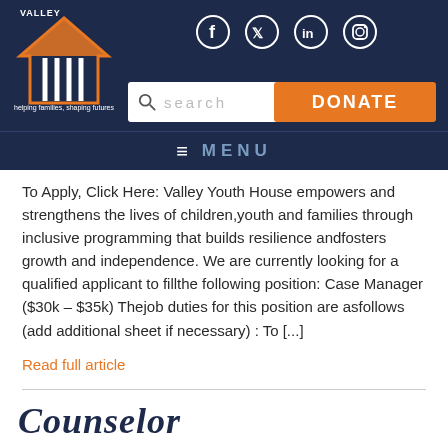[Figure (logo): Valley Youth House logo with house/roof icon in orange and white on dark navy background]
[Figure (infographic): Social media icons: Facebook, Twitter, LinkedIn, Instagram - white circle outlines on dark navy background]
[Figure (screenshot): Search bar with magnifying glass icon and placeholder text 'search']
[Figure (screenshot): Orange DONATE button]
MENU
To Apply, Click Here: Valley Youth House empowers and strengthens the lives of children,youth and families through inclusive programming that builds resilience andfosters growth and independence. We are currently looking for a qualified applicant to fillthe following position: Case Manager ($30k – $35k) Thejob duties for this position are asfollows (add additional sheet if necessary) : To [...]
Read full article
Counselor